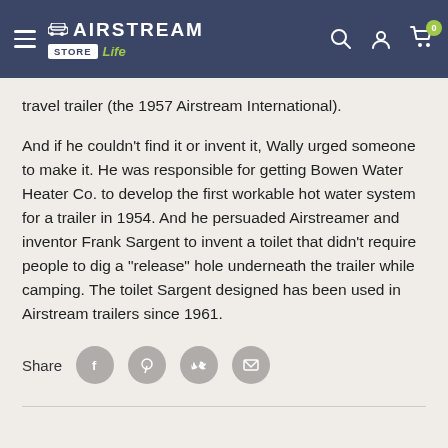Airstream Store — navigation header with logo, search, account, and cart icons
travel trailer (the 1957 Airstream International).
And if he couldn't find it or invent it, Wally urged someone to make it. He was responsible for getting Bowen Water Heater Co. to develop the first workable hot water system for a trailer in 1954. And he persuaded Airstreamer and inventor Frank Sargent to invent a toilet that didn't require people to dig a "release" hole underneath the trailer while camping. The toilet Sargent designed has been used in Airstream trailers since 1961.
[Figure (infographic): Share buttons row with label 'Share' and four circular social media icons: Facebook, Pinterest, Twitter, Email]